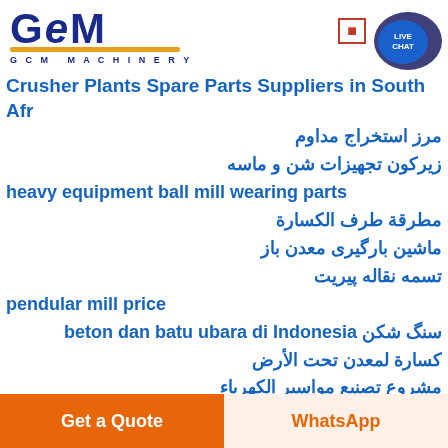GCM MACHINERY
Crusher Plants Spare Parts Suppliers in South Africa
مرز استخراج مداوم
زیرکون تجهیزات شن و ماسه
heavy equipment ball mill wearing parts
مطرقة طرف الكسارة
ماشین بارگیری معدن باز
تسمه نقاله پیریت
pendular mill price
سنگ شکن beton dan batu ubara di Indonesia
كسارة لمعدن تحت الأرض
مشروع تصنيع مواسير الكهرباء
مطاحن آلية
عينات في كسارة فكية
Get a Quote | WhatsApp